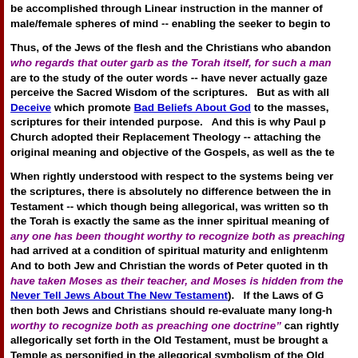be accomplished through Linear instruction in the manner of male/female spheres of mind -- enabling the seeker to begin to
Thus, of the Jews of the flesh and the Christians who abandon who regards that outer garb as the Torah itself, for such a man are to the study of the outer words -- have never actually gaze perceive the Sacred Wisdom of the scriptures. But as with all Deceive which promote Bad Beliefs About God to the masses, scriptures for their intended purpose. And this is why Paul p Church adopted their Replacement Theology -- attaching the original meaning and objective of the Gospels, as well as the t
When rightly understood with respect to the systems being ve the scriptures, there is absolutely no difference between the i Testament -- which though being allegorical, was written so th the Torah is exactly the same as the inner spiritual meaning of any one has been thought worthy to recognize both as preaching had arrived at a condition of spiritual maturity and enlightenm And to both Jew and Christian the words of Peter quoted in th have taken Moses as their teacher, and Moses is hidden from th Never Tell Jews About The New Testament). If the Laws of C then both Jews and Christians should re-evaluate many long-h worthy to recognize both as preaching one doctrine" can rightly allegorically set forth in the Old Testament, must be brought a Temple as personified in the allegorical symbolism of the Old the same as the Gospels -- with the Gospels being written in o